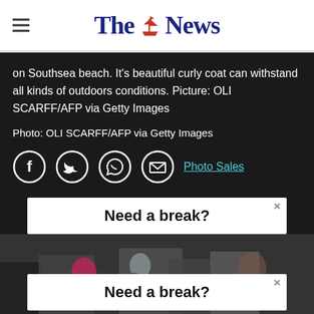The News
on Southsea beach. It's beautiful curly coat can withstand all kinds of outdoors conditions. Picture: OLI SCARFF/AFP via Getty Images
Photo: OLI SCARFF/AFP via Getty Images
[Figure (infographic): Social share icons: Facebook, Twitter, WhatsApp, Email, and Photo Sales link]
[Figure (infographic): Advertisement banner: Need a break?]
[Figure (photo): Crowd photo, dark scene with people]
[Figure (infographic): Advertisement banner: Need a break?]